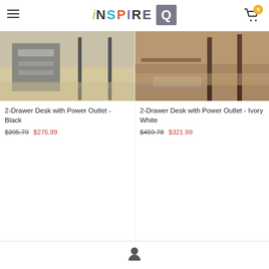[Figure (logo): iNSPIRE Q logo with colorful letters and gray Q box]
[Figure (photo): 2-Drawer Desk with Power Outlet in Black finish, photo showing desk legs and drawer]
2-Drawer Desk with Power Outlet - Black
$395.79  $276.99
[Figure (photo): 2-Drawer Desk with Power Outlet in Ivory White finish on hardwood floor with rug]
2-Drawer Desk with Power Outlet - Ivory White
$459.78  $321.99
[Figure (illustration): User/person silhouette icon in footer navigation bar]